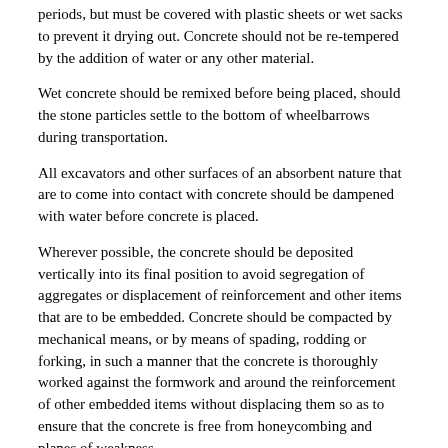periods, but must be covered with plastic sheets or wet sacks to prevent it drying out. Concrete should not be re-tempered by the addition of water or any other material.
Wet concrete should be remixed before being placed, should the stone particles settle to the bottom of wheelbarrows during transportation.
All excavators and other surfaces of an absorbent nature that are to come into contact with concrete should be dampened with water before concrete is placed.
Wherever possible, the concrete should be deposited vertically into its final position to avoid segregation of aggregates or displacement of reinforcement and other items that are to be embedded. Concrete should be compacted by mechanical means, or by means of spading, rodding or forking, in such a manner that the concrete is thoroughly worked against the formwork and around the reinforcement of other embedded items without displacing them so as to ensure that the concrete is free from honeycombing and planes of weakness.
Wherever practicable, concrete should be placed in a continuous process.